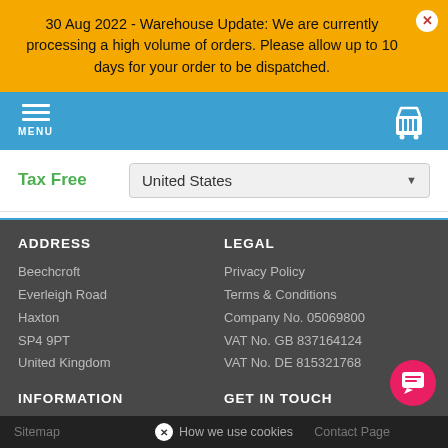30 Aug 2022 - Warehouse Update: We are currently processing a high volume of orders. Please allow up to 10 days for your order to be dispatched.
[Figure (screenshot): Blue navigation bar with hamburger menu icon labeled MENU on left and shopping cart icon on right]
Tax Free   United States
ADDRESS
Beechcroft
Everleigh Road
Haxton
SP4 9PT
United Kingdom
LEGAL
Privacy Policy
Terms & Conditions
Company No. 05069800
VAT No. GB 837164124
VAT No. DE 815321768
INFORMATION
GET IN TOUCH
Sitemap   How we use cookies   Contact Page